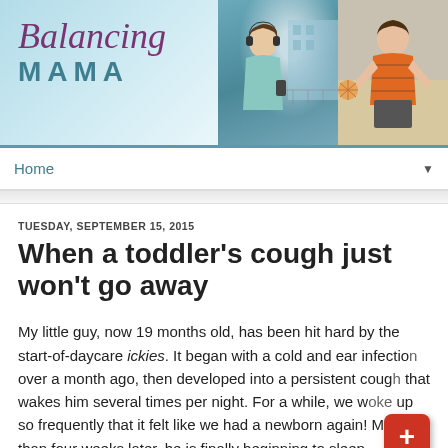[Figure (illustration): Blog banner for 'Balancing Mama' with teal gradient background, cursive purple 'Balancing' text and bold teal 'MAMA' text on the left, and two photos on the right: a girl with headphones smiling, and a child holding a starfish at a beach.]
Home
TUESDAY, SEPTEMBER 15, 2015
When a toddler's cough just won't go away
My little guy, now 19 months old, has been hit hard by the start-of-daycare ickies. It began with a cold and ear infection over a month ago, then developed into a persistent cough that wakes him several times per night. For a while, we woke up so frequently that it felt like we had a newborn again! More than four weeks later, he is finally beginning to sleep